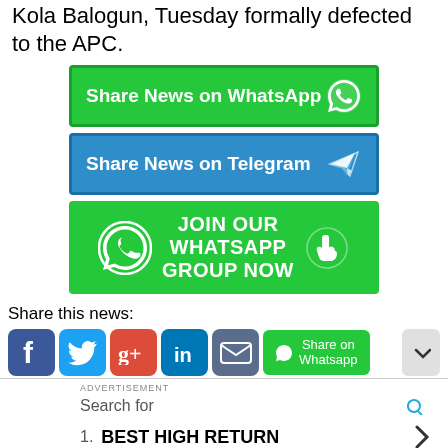Kola Balogun, Tuesday formally defected to the APC.
[Figure (other): Green Share News on WhatsApp button with WhatsApp phone icon]
[Figure (other): Blue Share News on Telegram button with Telegram paper plane icon]
[Figure (other): Green JOIN OUR WHATSAPP GROUP NOW button with WhatsApp logo and hand pointer icon]
Share this news:
[Figure (other): Social share icons: Facebook, Twitter, Google+, LinkedIn, Email, and Share on Whatsapp button, plus chevron]
ADVERTISEMENT
Search for
1. BEST HIGH RETURN
2. MASTER'S DEGREE IN
Ad | Business Focus